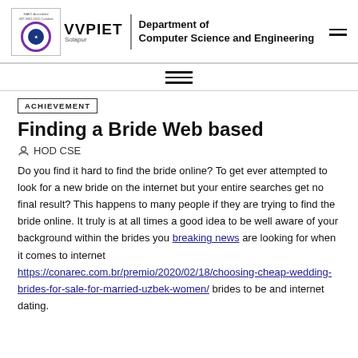VVPIET Solapur | Department of Computer Science and Engineering
ACHIEVEMENT
Finding a Bride Web based
HOD CSE
Do you find it hard to find the bride online? To get ever attempted to look for a new bride on the internet but your entire searches get no final result? This happens to many people if they are trying to find the bride online. It truly is at all times a good idea to be well aware of your background within the brides you breaking news are looking for when it comes to internet https://conarec.com.br/premio/2020/02/18/choosing-cheap-wedding-brides-for-sale-for-married-uzbek-women/ brides to be and internet dating.